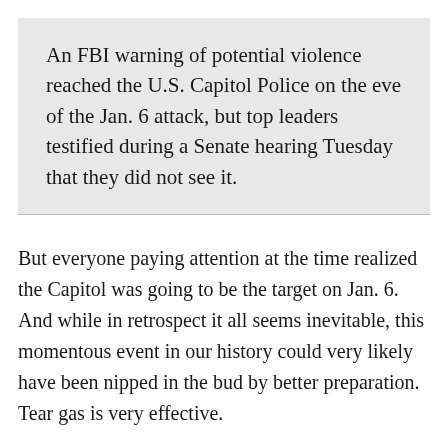An FBI warning of potential violence reached the U.S. Capitol Police on the eve of the Jan. 6 attack, but top leaders testified during a Senate hearing Tuesday that they did not see it.
But everyone paying attention at the time realized the Capitol was going to be the target on Jan. 6. And while in retrospect it all seems inevitable, this momentous event in our history could very likely have been nipped in the bud by better preparation. Tear gas is very effective.
Similarly, while some of the insurrectionists were clearly coordinated, there is still no evidence that this wasn't at least at least from some of the participants a spontaneity